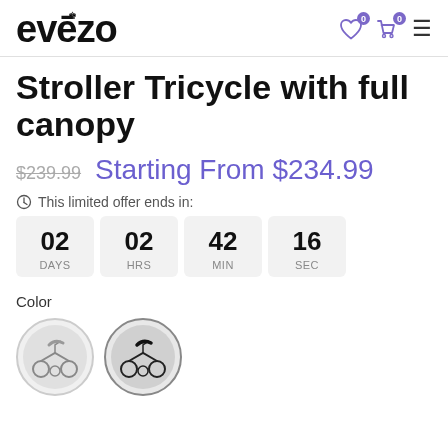evezo
Stroller Tricycle with full canopy
$239.99  Starting From $234.99
This limited offer ends in:
02 DAYS  02 HRS  42 MIN  16 SEC
Color
[Figure (photo): Two color swatches showing stroller tricycle options: a grey/silver version and a black version, both circular thumbnail images]